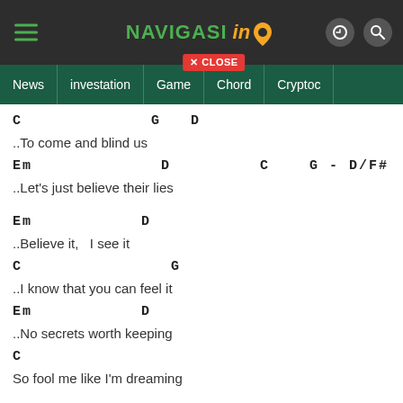NAVIGASI info — navigation bar with News, investation, Game, Chord, Crypto tabs
C    G  D
..To come and blind us
Em           D         C    G - D/F#
..Let's just believe their lies
Em          D
..Believe it,   I see it
C              G
..I know that you can feel it
Em          D
..No secrets worth keeping
C
So fool me like I'm dreaming
Em          G